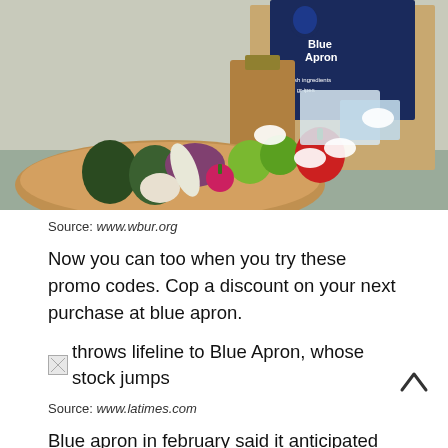[Figure (photo): Blue Apron meal kit delivery box with fresh vegetables and ingredients in a wooden bowl, including avocado, red bell pepper, lime, garlic, radish, purple cabbage, and packaged ingredients]
Source: www.wbur.org
Now you can too when you try these promo codes. Cop a discount on your next purchase at blue apron.
[Figure (illustration): Small broken image icon followed by text: throws lifeline to Blue Apron, whose stock jumps]
Source: www.latimes.com
Blue apron in february said it anticipated closing the facility would cost $1.5 million in cash for severance charges and